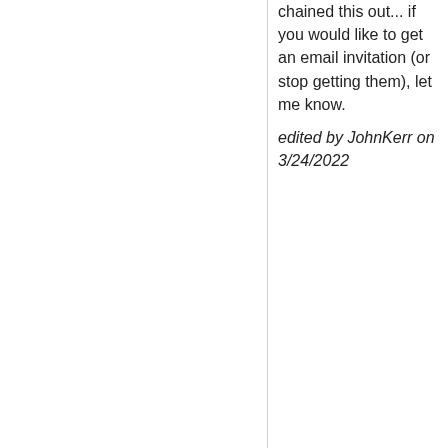chained this out... if you would like to get an email invitation (or stop getting them), let me know.
edited by JohnKerr on 3/24/2022
permalink
3/24/2022 11:57:41 AM
[Figure (illustration): Orange meeple avatar icon inside a bordered square box]
JohnKerr
( John Kerr)
Administrator
So far Scott, Ayne and George had rsvped (thanks!), but: